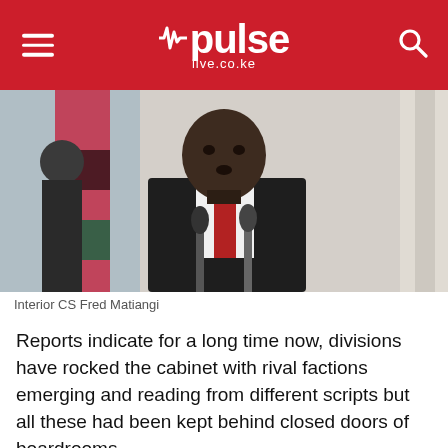pulse live.co.ke
[Figure (photo): Interior CS Fred Matiangi speaking at a podium with microphones, wearing a dark suit and red tie, with a Kenyan flag visible in the background.]
Interior CS Fred Matiangi
Reports indicate for a long time now, divisions have rocked the cabinet with rival factions emerging and reading from different scripts but all these had been kept behind closed doors of boardrooms.